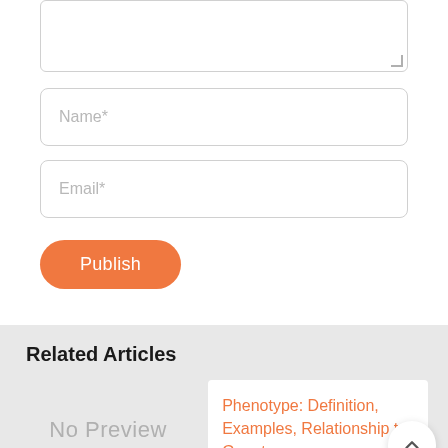[Figure (screenshot): A textarea form field (empty, with resize handle at bottom-right), followed by Name* and Email* input fields, and an orange rounded Publish button]
Related Articles
[Figure (screenshot): No Preview placeholder card on the left with gray text, and a white card on the right showing an orange link: Phenotype: Definition, Examples, Relationship to Genotype,]
Genotypic ...
Phenotype: Definition, Examples, Relationship to Genotype,